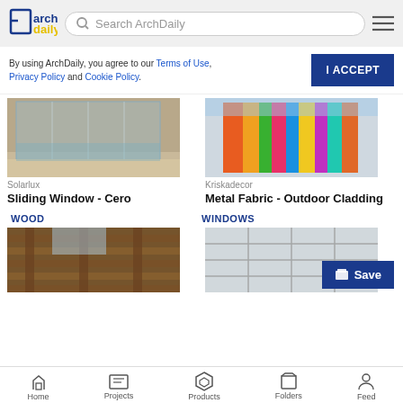[Figure (screenshot): ArchDaily website header with logo, search bar, and hamburger menu]
By using ArchDaily, you agree to our Terms of Use, Privacy Policy and Cookie Policy.
[Figure (photo): Solarlux Sliding Window - Cero product photo showing glass sliding window with pool]
Solarlux
Sliding Window - Cero
[Figure (photo): Kriskadecor Metal Fabric - Outdoor Cladding product photo showing colorful building facade]
Kriskadecor
Metal Fabric - Outdoor Cladding
WOOD
WINDOWS
[Figure (photo): Wood pergola/outdoor structure product photo]
[Figure (photo): Windows grid/panel product photo]
Home  Projects  Products  Folders  Feed